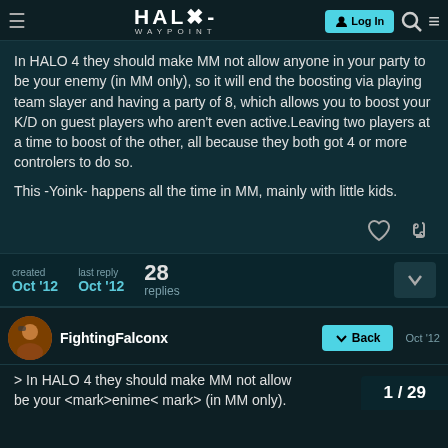HALO WAYPOINT — Log In
In HALO 4 they should make MM not allow anyone in your party to be your enemy (in MM only), so it will end the boosting via playing team slayer and having a party of 8, which allows you to boost your K/D on guest players who aren't even active.Leaving two players at a time to boost of the other, all because they both got 4 or more controlers to do so.

This -Yoink- happens all the time in MM, mainly with little kids.
created Oct '12   last reply Oct '12   28 replies
FightingFalconx   Oct '12
> In HALO 4 they should make MM not allow be your <mark>enime< mark> (in MM only).